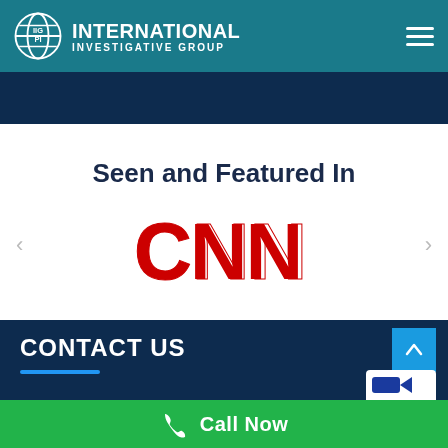[Figure (logo): IIG PI International Investigative Group logo with globe icon in teal header bar, hamburger menu icon top right]
Seen and Featured In
[Figure (logo): CNN logo in red on white background]
CONTACT US
Call Now